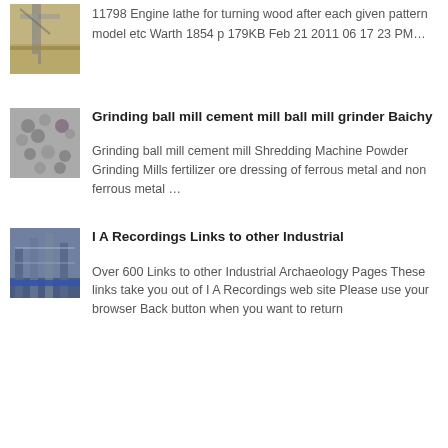[Figure (photo): Industrial machine or lathe structure outdoors on sandy ground]
11798 Engine lathe for turning wood after each given pattern model etc Warth 1854 p 179KB Feb 21 2011 06 17 23 PM…
[Figure (photo): Handful of small grinding balls/pellets made of metal or mineral]
Grinding ball mill cement mill ball mill grinder Baichy
Grinding ball mill cement mill Shredding Machine Powder Grinding Mills fertilizer ore dressing of ferrous metal and non ferrous metal …
[Figure (photo): Industrial facility interior with large mechanical structures and blue pipes]
I A Recordings Links to other Industrial
Over 600 Links to other Industrial Archaeology Pages These links take you out of I A Recordings web site Please use your browser Back button when you want to return